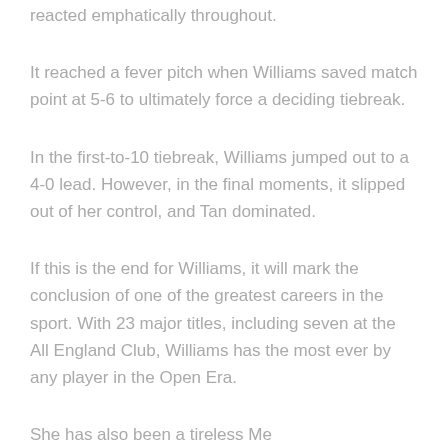reacted emphatically throughout.
It reached a fever pitch when Williams saved match point at 5-6 to ultimately force a deciding tiebreak.
In the first-to-10 tiebreak, Williams jumped out to a 4-0 lead. However, in the final moments, it slipped out of her control, and Tan dominated.
If this is the end for Williams, it will mark the conclusion of one of the greatest careers in the sport. With 23 major titles, including seven at the All England Club, Williams has the most ever by any player in the Open Era.
She has also been a tireless Serena advocate